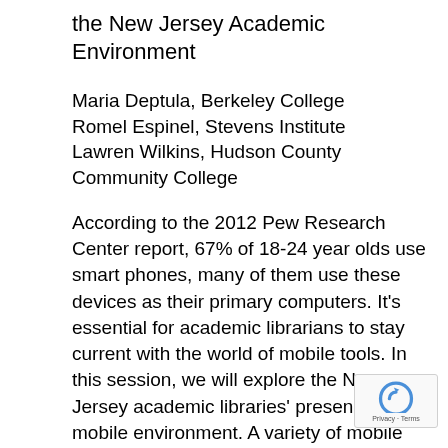the New Jersey Academic Environment
Maria Deptula, Berkeley College
Romel Espinel, Stevens Institute
Lawren Wilkins, Hudson County Community College
According to the 2012 Pew Research Center report, 67% of 18-24 year olds use smart phones, many of them use these devices as their primary computers. It's essential for academic librarians to stay current with the world of mobile tools. In this session, we will explore the New Jersey academic libraries' presence in the mobile environment. A variety of mobile reference tools as well as library vendors' mobile apps will be introduced. The goal of this presentation is to